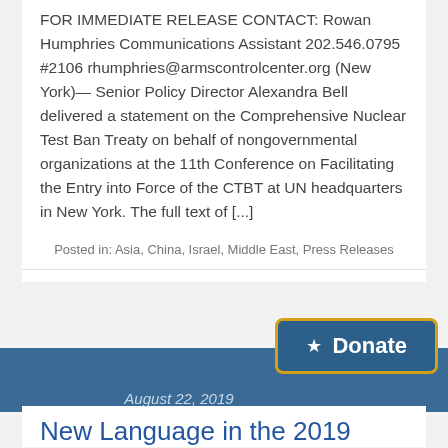FOR IMMEDIATE RELEASE CONTACT: Rowan Humphries Communications Assistant 202.546.0795 #2106 rhumphries@armscontrolcenter.org (New York)— Senior Policy Director Alexandra Bell delivered a statement on the Comprehensive Nuclear Test Ban Treaty on behalf of nongovernmental organizations at the 11th Conference on Facilitating the Entry into Force of the CTBT at UN headquarters in New York. The full text of [...]
Posted in: Asia, China, Israel, Middle East, Press Releases
[Figure (other): Donate button with star icon, blue background with gold border]
August 22, 2019
New Language in the 2019